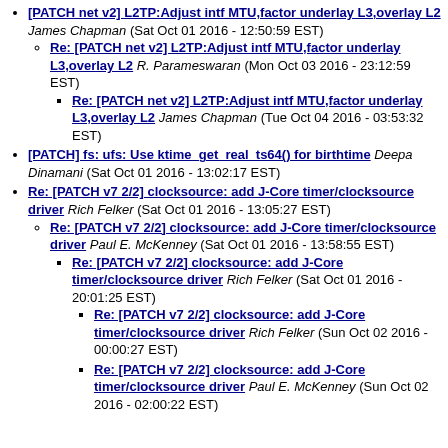[PATCH net v2] L2TP:Adjust intf MTU,factor underlay L3,overlay L2 James Chapman (Sat Oct 01 2016 - 12:50:59 EST)
Re: [PATCH net v2] L2TP:Adjust intf MTU,factor underlay L3,overlay L2 R. Parameswaran (Mon Oct 03 2016 - 23:12:59 EST)
Re: [PATCH net v2] L2TP:Adjust intf MTU,factor underlay L3,overlay L2 James Chapman (Tue Oct 04 2016 - 03:53:32 EST)
[PATCH] fs: ufs: Use ktime_get_real_ts64() for birthtime Deepa Dinamani (Sat Oct 01 2016 - 13:02:17 EST)
Re: [PATCH v7 2/2] clocksource: add J-Core timer/clocksource driver Rich Felker (Sat Oct 01 2016 - 13:05:27 EST)
Re: [PATCH v7 2/2] clocksource: add J-Core timer/clocksource driver Paul E. McKenney (Sat Oct 01 2016 - 13:58:55 EST)
Re: [PATCH v7 2/2] clocksource: add J-Core timer/clocksource driver Rich Felker (Sat Oct 01 2016 - 20:01:25 EST)
Re: [PATCH v7 2/2] clocksource: add J-Core timer/clocksource driver Rich Felker (Sun Oct 02 2016 - 00:00:27 EST)
Re: [PATCH v7 2/2] clocksource: add J-Core timer/clocksource driver Paul E. McKenney (Sun Oct 02 2016 - 02:00:22 EST)